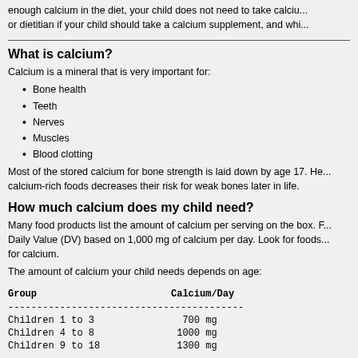enough calcium in the diet, your child does not need to take calcium supplements. Ask your doctor or dietitian if your child should take a calcium supplement, and which one is best.
What is calcium?
Calcium is a mineral that is very important for:
Bone health
Teeth
Nerves
Muscles
Blood clotting
Most of the stored calcium for bone strength is laid down by age 17. Helping teens eat calcium-rich foods decreases their risk for weak bones later in life.
How much calcium does my child need?
Many food products list the amount of calcium per serving on the box. Percentages listed are based on the Daily Value (DV) based on 1,000 mg of calcium per day. Look for foods that have a high percentage for calcium.
The amount of calcium your child needs depends on age:
| Group | Calcium/Day |
| --- | --- |
| Children 1 to 3 | 700 mg |
| Children 4 to 8 | 1000 mg |
| Children 9 to 18 | 1300 mg |